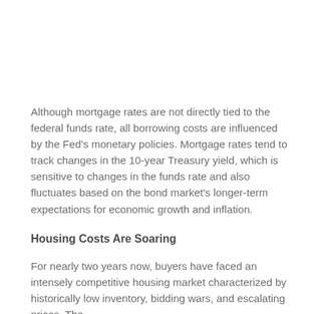Although mortgage rates are not directly tied to the federal funds rate, all borrowing costs are influenced by the Fed's monetary policies. Mortgage rates tend to track changes in the 10-year Treasury yield, which is sensitive to changes in the funds rate and also fluctuates based on the bond market's longer-term expectations for economic growth and inflation.
Housing Costs Are Soaring
For nearly two years now, buyers have faced an intensely competitive housing market characterized by historically low inventory, bidding wars, and escalating prices. The